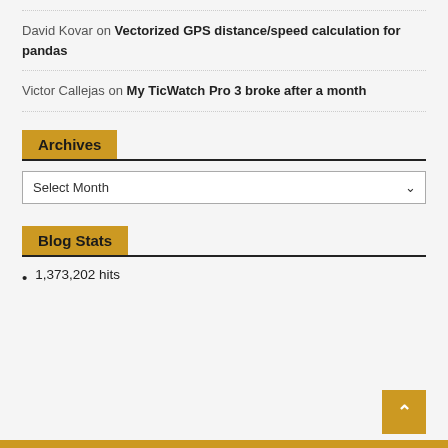David Kovar on Vectorized GPS distance/speed calculation for pandas
Victor Callejas on My TicWatch Pro 3 broke after a month
Archives
Select Month
Blog Stats
1,373,202 hits